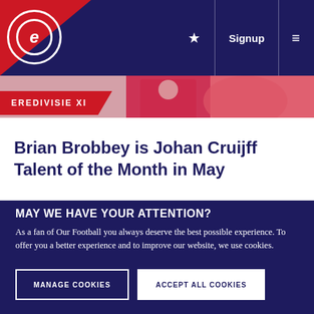Eredivisie XI | Signup | Menu
[Figure (photo): Partial photo of a football player in red/white kit]
EREDIVISIE XI
Brian Brobbey is Johan Cruijff Talent of the Month in May
MAY WE HAVE YOUR ATTENTION?
As a fan of Our Football you always deserve the best possible experience. To offer you a better experience and to improve our website, we use cookies.
MANAGE COOKIES
ACCEPT ALL COOKIES
→ Read our Cookie Statement here
→ Read more about the use of personal data